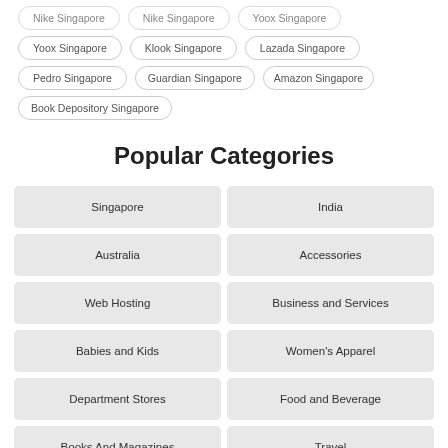Nike Singapore
Nike Singapore
Yoox Singapore
Yoox Singapore
Klook Singapore
Lazada Singapore
Pedro Singapore
Guardian Singapore
Amazon Singapore
Book Depository Singapore
Popular Categories
Singapore
India
Australia
Accessories
Web Hosting
Business and Services
Babies and Kids
Women's Apparel
Department Stores
Food and Beverage
Books And Magazines
Travel